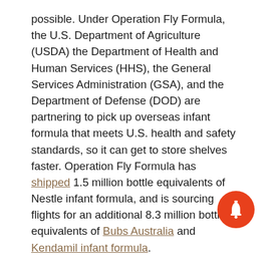possible. Under Operation Fly Formula, the U.S. Department of Agriculture (USDA) the Department of Health and Human Services (HHS), the General Services Administration (GSA), and the Department of Defense (DOD) are partnering to pick up overseas infant formula that meets U.S. health and safety standards, so it can get to store shelves faster. Operation Fly Formula has shipped 1.5 million bottle equivalents of Nestle infant formula, and is sourcing flights for an additional 8.3 million bottle equivalents of Bubs Australia and Kendamil infant formula.
In addition, the Biden Administration has taken a number of other important actions to ensure there is enough safe infant formula for families.
[Figure (other): Red circular notification bell icon in bottom-right corner]